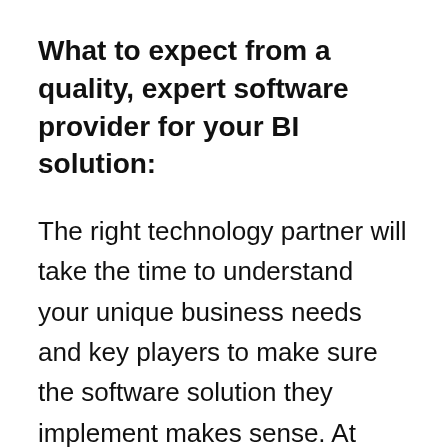What to expect from a quality, expert software provider for your BI solution:
The right technology partner will take the time to understand your unique business needs and key players to make sure the software solution they implement makes sense. At TechGenies, our Genies have helped implement better BI solutions at multiple companies,